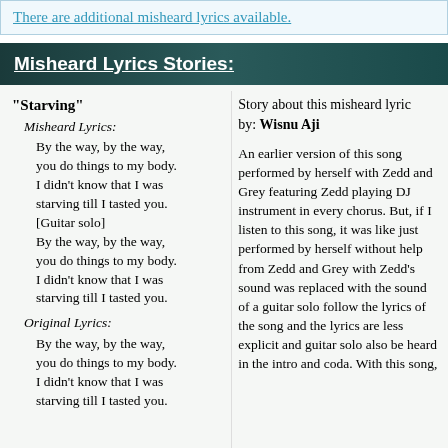There are additional misheard lyrics available.
Misheard Lyrics Stories:
"Starving"
  Misheard Lyrics:
    By the way, by the way, you do things to my body. I didn't know that I was starving till I tasted you. [Guitar solo] By the way, by the way, you do things to my body. I didn't know that I was starving till I tasted you.
  Original Lyrics:
    By the way, by the way, you do things to my body. I didn't know that I was starving till I tasted you.
Story about this misheard lyric by: Wisnu Aji

An earlier version of this song performed by herself with Zedd and Grey featuring Zedd playing DJ instrument in every chorus. But, if I listen to this song, it was like just performed by herself without help from Zedd and Grey with Zedd's sound was replaced with the sound of a guitar solo follow the lyrics of the song and the lyrics are less explicit and guitar solo also be heard in the intro and coda. With this song,